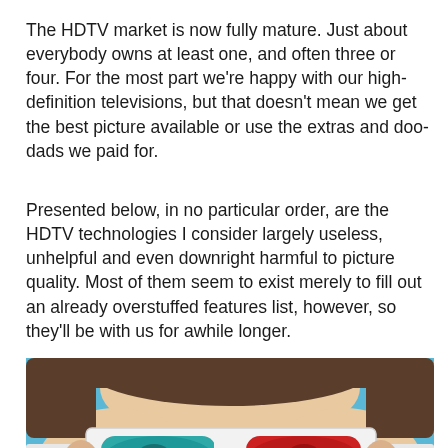The HDTV market is now fully mature. Just about everybody owns at least one, and often three or four. For the most part we're happy with our high-definition televisions, but that doesn't mean we get the best picture available or use the extras and doo-dads we paid for.
Presented below, in no particular order, are the HDTV technologies I consider largely useless, unhelpful and even downright harmful to picture quality. Most of them seem to exist merely to fill out an already overstuffed features list, however, so they'll be with us for awhile longer.
[Figure (photo): Close-up photo of a person wearing anaglyph 3D glasses with a cyan/teal left lens and red right lens, set against a blue background.]